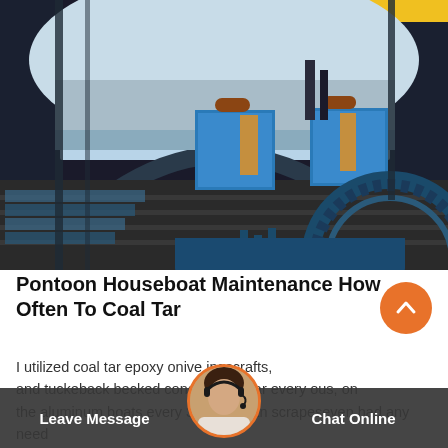[Figure (photo): Industrial facility interior showing blue heavy machinery (possibly mineral processing or conveyor equipment) under a steel arch roof structure, with a large gear/wheel in the foreground and desert landscape visible in background]
Pontoon Houseboat Maintenance How Often To Coal Tar
I utilized coal tar epoxy onive ingscrafts, and tuckeback becked condi steel boar every ous, on the aluminum boats every 3, other than scrapeseven had any need
[Figure (photo): Customer service avatar: woman with headset]
Leave Message
Chat Online